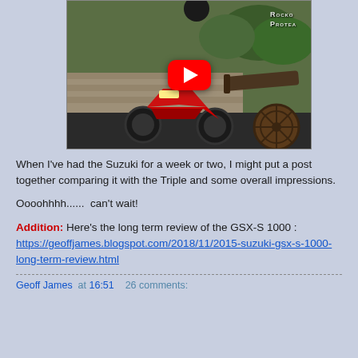[Figure (screenshot): YouTube video thumbnail showing a red/black Suzuki GSX-S 1000 motorcycle with a cannon in the background and Rocko Protea watermark, with a red YouTube play button overlay]
When I've had the Suzuki for a week or two, I might put a post together comparing it with the Triple and some overall impressions.
Oooohhhh......  can't wait!
Addition:  Here's the long term review of the GSX-S 1000 : https://geoffjames.blogspot.com/2018/11/2015-suzuki-gsx-s-1000-long-term-review.html
Geoff James  at 16:51    26 comments: